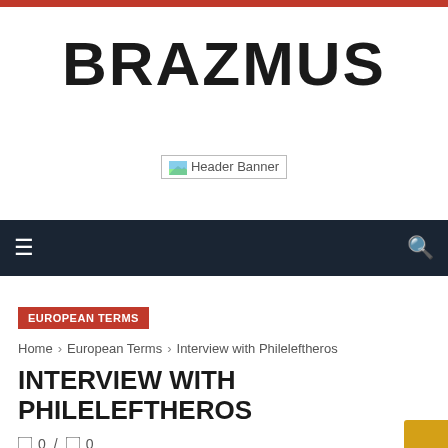BRAZMUS
[Figure (other): Header Banner placeholder image with broken image icon and text 'Header Banner']
Navigation bar with menu icon and search icon
EUROPEAN TERMS
Home › European Terms › Interview with Phileleftheros
INTERVIEW WITH PHILELEFTHEROS
0 / 0